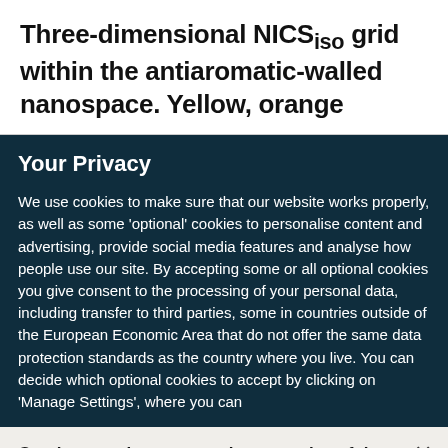Three-dimensional NICSiso grid within the antiaromatic-walled nanospace. Yellow, orange
Your Privacy
We use cookies to make sure that our website works properly, as well as some 'optional' cookies to personalise content and advertising, provide social media features and analyse how people use our site. By accepting some or all optional cookies you give consent to the processing of your personal data, including transfer to third parties, some in countries outside of the European Economic Area that do not offer the same data protection standards as the country where you live. You can decide which optional cookies to accept by clicking on 'Manage Settings', where you can
Get the most important science stories of the day, free in your inbox.
Sign up for Nature Briefing